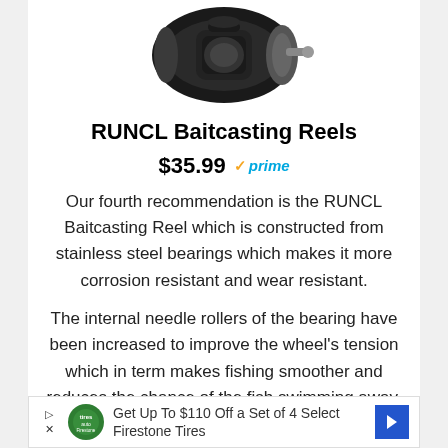[Figure (photo): Photo of RUNCL Baitcasting Reel, a black fishing reel device shown from an angle]
RUNCL Baitcasting Reels
$35.99 ✓prime
Our fourth recommendation is the RUNCL Baitcasting Reel which is constructed from stainless steel bearings which makes it more corrosion resistant and wear resistant.
The internal needle rollers of the bearing have been increased to improve the wheel's tension which in term makes fishing smoother and reduces the chance of the fish swimming away.
[Figure (infographic): Advertisement banner: Get Up To $110 Off a Set of 4 Select Firestone Tires, with Firestone auto logo and blue direction arrow]